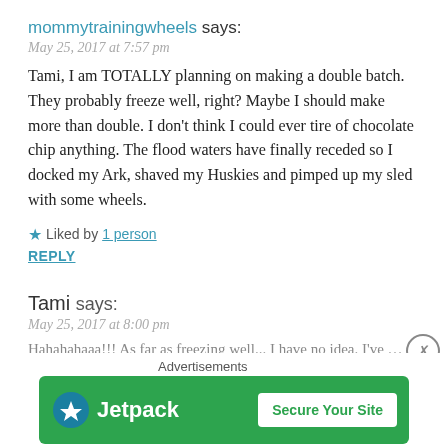mommytrainingwheels says:
May 25, 2017 at 7:57 pm
Tami, I am TOTALLY planning on making a double batch. They probably freeze well, right? Maybe I should make more than double. I don't think I could ever tire of chocolate chip anything. The flood waters have finally receded so I docked my Ark, shaved my Huskies and pimped up my sled with some wheels.
★ Liked by 1 person
REPLY
Tami says:
May 25, 2017 at 8:00 pm
Hahahahaaa!!! As far as freezing well... I have no idea. I've never
[Figure (screenshot): Jetpack advertisement banner with green background, Jetpack logo and 'Secure Your Site' button]